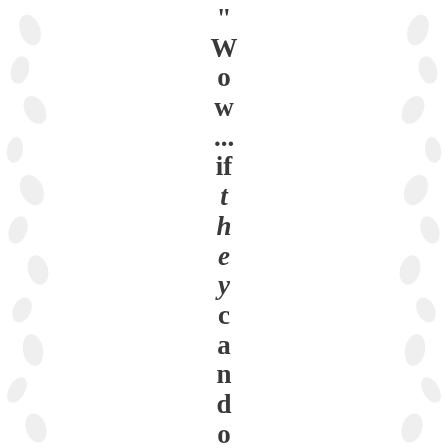" Wow ... if they can do it, s